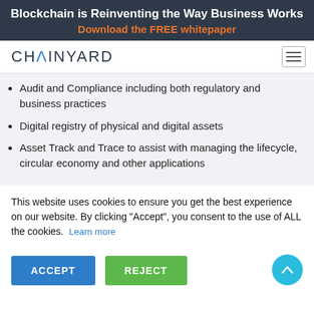Blockchain is Reinventing the Way Business Works
Download the FREE whitepaper
[Figure (logo): CHAINYARD logo with stylized A in blue, followed by hamburger menu icon]
Audit and Compliance including both regulatory and business practices
Digital registry of physical and digital assets
Asset Track and Trace to assist with managing the lifecycle, circular economy and other applications
This website uses cookies to ensure you get the best experience on our website. By clicking "Accept", you consent to the use of ALL the cookies. Learn more
ACCEPT  REJECT